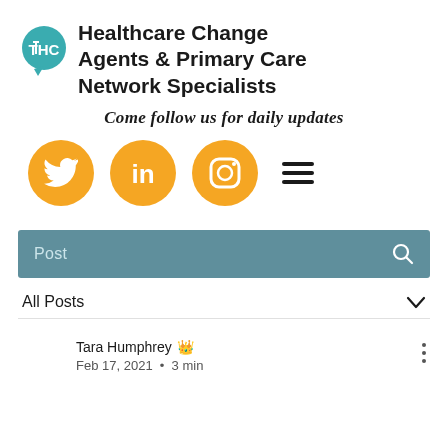[Figure (logo): THC teal circular logo with letters THC in white]
Healthcare Change Agents & Primary Care Network Specialists
Come follow us for daily updates
[Figure (infographic): Three orange circular social media icons: Twitter, LinkedIn, Instagram, followed by a hamburger menu icon]
Post
All Posts
Tara Humphrey 👑
Feb 17, 2021 · 3 min